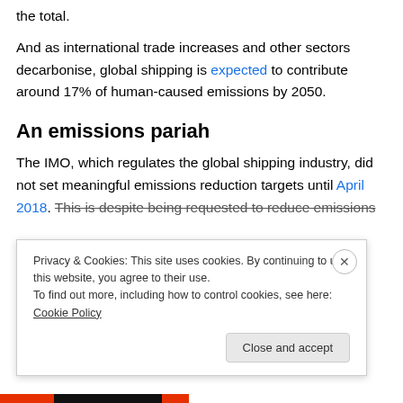the total.
And as international trade increases and other sectors decarbonise, global shipping is expected to contribute around 17% of human-caused emissions by 2050.
An emissions pariah
The IMO, which regulates the global shipping industry, did not set meaningful emissions reduction targets until April 2018. This is despite being requested to reduce emissions
Privacy & Cookies: This site uses cookies. By continuing to use this website, you agree to their use.
To find out more, including how to control cookies, see here: Cookie Policy
Close and accept